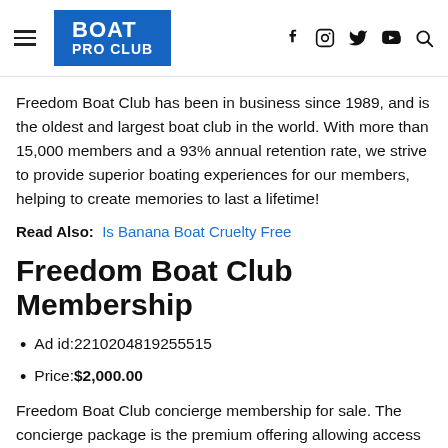BOAT PRO CLUB
Freedom Boat Club has been in business since 1989, and is the oldest and largest boat club in the world. With more than 15,000 members and a 93% annual retention rate, we strive to provide superior boating experiences for our members, helping to create memories to last a lifetime!
Read Also: Is Banana Boat Cruelty Free
Freedom Boat Club Membership
Ad id:2210204819255515
Price:$2,000.00
Freedom Boat Club concierge membership for sale. The concierge package is the premium offering allowing access to larger fishing and recreational boats. Your membership